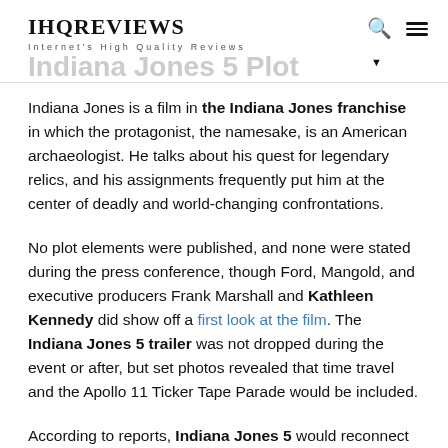IHQREVIEWS — Internet's High Quality Reviews
Indiana Jones 5 Plot
Indiana Jones is a film in the Indiana Jones franchise in which the protagonist, the namesake, is an American archaeologist. He talks about his quest for legendary relics, and his assignments frequently put him at the center of deadly and world-changing confrontations.
No plot elements were published, and none were stated during the press conference, though Ford, Mangold, and executive producers Frank Marshall and Kathleen Kennedy did show off a first look at the film. The Indiana Jones 5 trailer was not dropped during the event or after, but set photos revealed that time travel and the Apollo 11 Ticker Tape Parade would be included.
According to reports, Indiana Jones 5 would reconnect the hero with his old foes, the Nazis, thanks to their participation